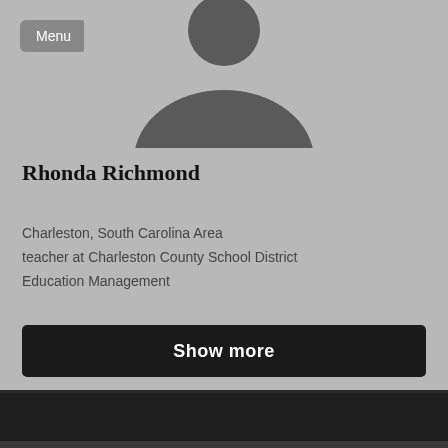[Figure (photo): Default avatar silhouette placeholder image on gray background]
Rhonda Richmond
Charleston, South Carolina Area
teacher at Charleston County School District
Education Management
Show more